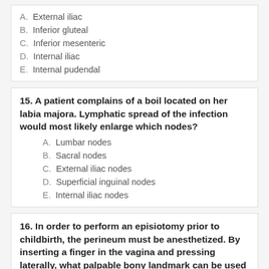A. External iliac
B. Inferior gluteal
C. Inferior mesenteric
D. Internal iliac
E. Internal pudendal
15. A patient complains of a boil located on her labia majora. Lymphatic spread of the infection would most likely enlarge which nodes?
A. Lumbar nodes
B. Sacral nodes
C. External iliac nodes
D. Superficial inguinal nodes
E. Internal iliac nodes
16. In order to perform an episiotomy prior to childbirth, the perineum must be anesthetized. By inserting a finger in the vagina and pressing laterally, what palpable bony landmark can be used as the posterior